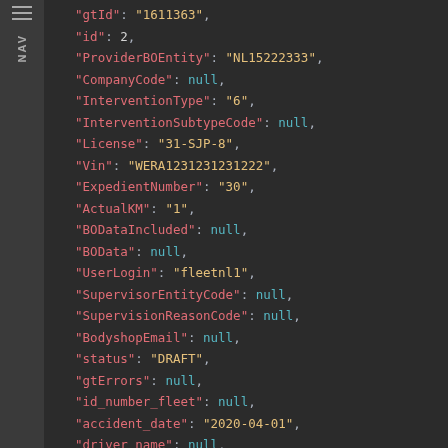[Figure (screenshot): Dark-themed code editor screenshot showing a JSON object with fields: gtId, id, ProviderBOEntity, CompanyCode, InterventionType, InterventionSubtypeCode, License, Vin, ExpedientNumber, ActualKM, BODataIncluded, BOData, UserLogin, SupervisorEntityCode, SupervisionReasonCode, BodyshopEmail, status, gtErrors, id_number_fleet, accident_date, driver_name, driver_telephone, car_make, car_model_and_type, car_type]